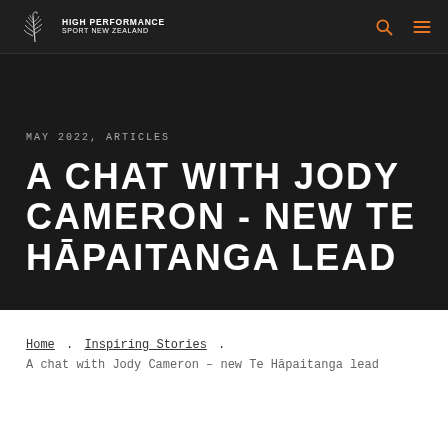HIGH PERFORMANCE SPORT NEW ZEALAND
MAY 2022, ARTICLES
A CHAT WITH JODY CAMERON - NEW TE HĀPAITANGA LEAD
Home . Inspiring Stories . A chat with Jody Cameron – new Te Hāpaitanga lead